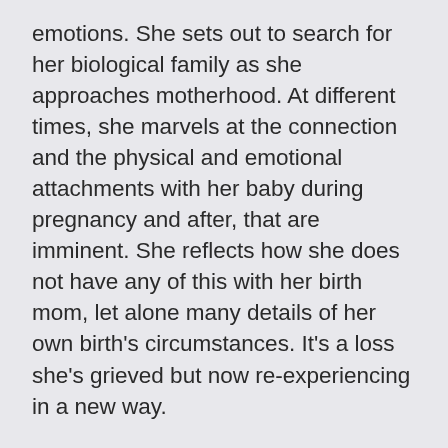emotions. She sets out to search for her biological family as she approaches motherhood. At different times, she marvels at the connection and the physical and emotional attachments with her baby during pregnancy and after, that are imminent. She reflects how she does not have any of this with her birth mom, let alone many details of her own birth's circumstances. It's a loss she's grieved but now re-experiencing in a new way.
This book will challenge you in many ways  that can only be accomplished through the stories of those experiencing adoption and daily living it. It reveals a hidden layer of self reflection. While we celebrate new stages of families and growing bonds, there is also pain through loss that exists in adoption. For some adoptees there is always a pain or isolation